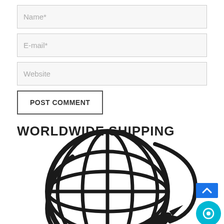Name*
E-mail*
Website
POST COMMENT
WORLDWIDE SHIPPING
[Figure (illustration): Globe with airplane flying around it, representing worldwide shipping. Black line art illustration on white background.]